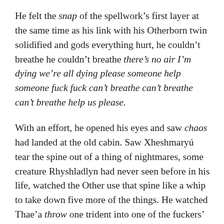He felt the snap of the spellwork's first layer at the same time as his link with his Otherborn twin solidified and gods everything hurt, he couldn't breathe he couldn't breathe there's no air I'm dying we're all dying please someone help someone fuck fuck can't breathe can't breathe can't breathe help us please.
With an effort, he opened his eyes and saw chaos had landed at the old cabin. Saw Xheshmaryú tear the spine out of a thing of nightmares, some creature Rhyshladlyn had never seen before in his life, watched the Other use that spine like a whip to take down five more of the things. He watched Thae'a throw one trident into one of the fuckers' chest just as it leapt for [continues]